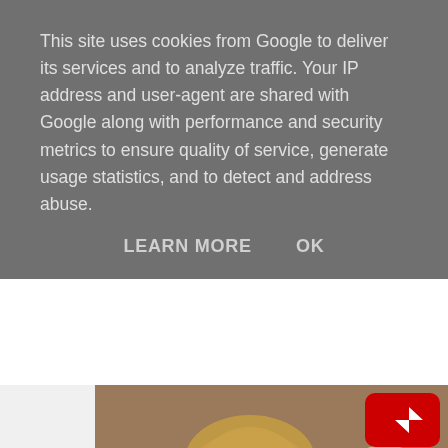This site uses cookies from Google to deliver its services and to analyze traffic. Your IP address and user-agent are shared with Google along with performance and security metrics to ensure quality of service, generate usage statistics, and to detect and address abuse.
LEARN MORE    OK
[Figure (screenshot): A blurry video thumbnail showing people, with a YouTube play button in the top right corner and a 'Watch on YouTube' bar at the bottom.]
Joan Collins and football aren't exactly natural bedfellows, but they trailed their "sensational double bill" for 8th December premiere of The Bitch with Liverpool vs Independiente. It's found, but all the more exciting for it. This is followed up w intriguing one for The Trocadero and, most interestingly, an